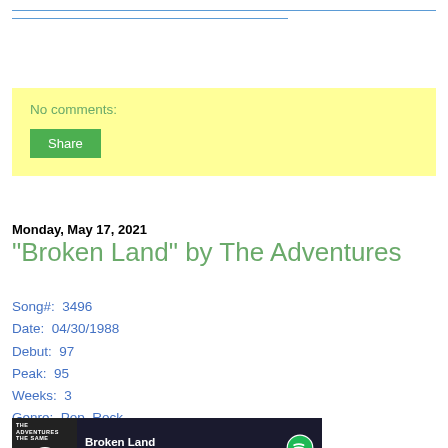No comments:
Share
Monday, May 17, 2021
"Broken Land" by The Adventures
Song#:  3496
Date:  04/30/1988
Debut:  97
Peak:  95
Weeks:  3
Genre:  Pop, Rock
[Figure (screenshot): Spotify widget showing 'Broken Land' by The Adventures with album art and play button on dark background]